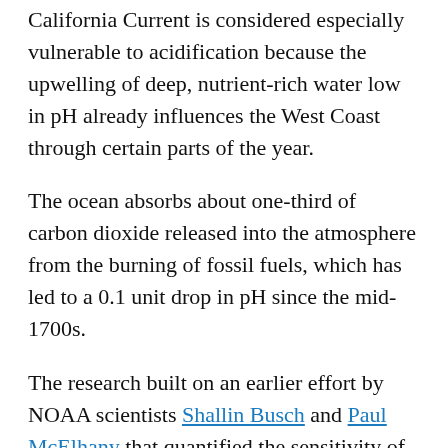California Current is considered especially vulnerable to acidification because the upwelling of deep, nutrient-rich water low in pH already influences the West Coast through certain parts of the year.
The ocean absorbs about one-third of carbon dioxide released into the atmosphere from the burning of fossil fuels, which has led to a 0.1 unit drop in pH since the mid-1700s.
The research built on an earlier effort by NOAA scientists Shallin Busch and Paul McElhany that quantified the sensitivity of various species to acidification, as originally reported in 393 separate papers. In a novel approach, Busch and McElhany weighed the evidence for each species based on its